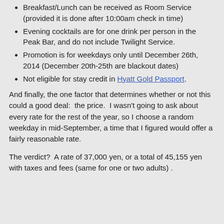Breakfast/Lunch can be received as Room Service (provided it is done after 10:00am check in time)
Evening cocktails are for one drink per person in the Peak Bar, and do not include Twilight Service.
Promotion is for weekdays only until December 26th, 2014 (December 20th-25th are blackout dates)
Not eligible for stay credit in Hyatt Gold Passport.
And finally, the one factor that determines whether or not this could a good deal:  the price.  I wasn't going to ask about every rate for the rest of the year, so I choose a random weekday in mid-September, a time that I figured would offer a fairly reasonable rate.
The verdict?  A rate of 37,000 yen, or a total of 45,155 yen with taxes and fees (same for one or two adults) .